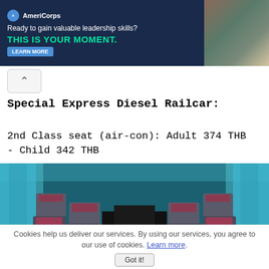[Figure (screenshot): AmeriCorps advertisement banner with dark navy background. Text reads: 'Ready to gain valuable leadership skills? THIS IS YOUR MOMENT.' with a LEARN MORE button in teal. Right side shows a photo of people.]
^
Special Express Diesel Railcar:
2nd Class seat (air-con): Adult 374 THB - Child 342 THB
[Figure (photo): Interior photo of a railcar showing rows of grey and red/pink seats with blue curtains on the windows, viewed from the front looking down the aisle.]
Cookies help us deliver our services. By using our services, you agree to our use of cookies. Learn more.
Got it!